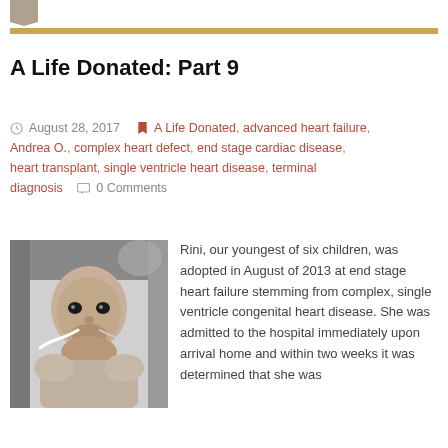A Life Donated: Part 9
August 28, 2017  A Life Donated, advanced heart failure, Andrea O., complex heart defect, end stage cardiac disease, heart transplant, single ventricle heart disease, terminal diagnosis  0 Comments
[Figure (photo): Black and white photo of a baby with a nasal tube, with an adult visible in the background]
Rini, our youngest of six children, was adopted in August of 2013 at end stage heart failure stemming from complex, single ventricle congenital heart disease. She was admitted to the hospital immediately upon arrival home and within two weeks it was determined that she was